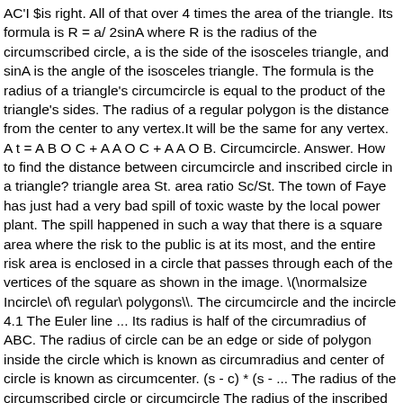AC'I $is right. All of that over 4 times the area of the triangle. Its formula is R = a/ 2sinA where R is the radius of the circumscribed circle, a is the side of the isosceles triangle, and sinA is the angle of the isosceles triangle. The formula is the radius of a triangle's circumcircle is equal to the product of the triangle's sides. The radius of a regular polygon is the distance from the center to any vertex.It will be the same for any vertex. A t = A B O C + A A O C + A A O B. Circumcircle. Answer. How to find the distance between circumcircle and inscribed circle in a triangle? triangle area St. area ratio Sc/St. The town of Faye has just had a very bad spill of toxic waste by the local power plant. The spill happened in such a way that there is a square area where the risk to the public is at its most, and the entire risk area is enclosed in a circle that passes through each of the vertices of the square as shown in the image. \(\normalsize Incircle\ of\ regular\ polygons\\. The circumcircle and the incircle 4.1 The Euler line ... Its radius is half of the circumradius of ABC. The radius of circle can be an edge or side of polygon inside the circle which is known as circumradius and center of circle is known as circumcenter. (s - c) * (s - ... The radius of the circumscribed circle or circumcircle The radius of the inscribed circle Oblique or scalene triangle examples: Oblique or Scalene Triangle: The tangent law or the tangent rule: Dividing corresponding pairs of Mollweide's